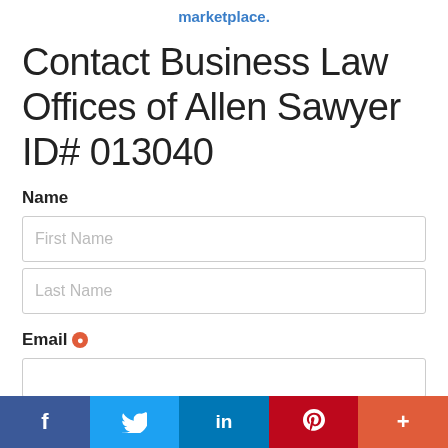marketplace.
Contact Business Law Offices of Allen Sawyer ID# 013040
Name
First Name
Last Name
Email ●
f  🐦  in  P  +